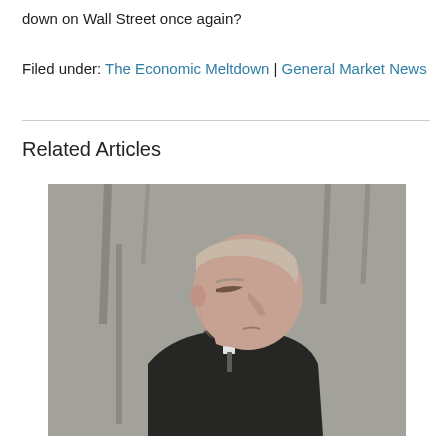down on Wall Street once again?
Filed under: The Economic Meltdown | General Market News
Related Articles
[Figure (photo): A man in a dark coat viewed from the side, head bowed slightly downward, with a blurred wintry outdoor background of bare trees.]